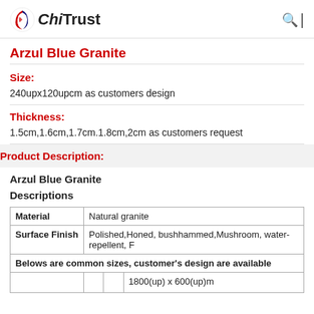ChiTrust
Arzul Blue Granite
Size:
240upx120upcm as customers design
Thickness:
1.5cm,1.6cm,1.7cm.1.8cm,2cm as customers request
Product Description:
Arzul Blue Granite
Descriptions
| Material | Natural granite |
| --- | --- |
| Surface Finish | Polished,Honed, bushhammed,Mushroom, water-repellent, F |
| Belows are common sizes, customer's design are available |  |
|  |  |  | 1800(up) x 600(up)m |